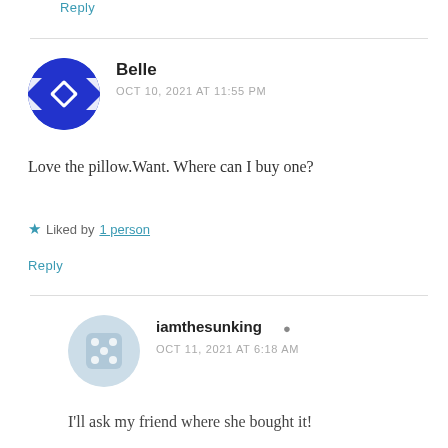Reply
Belle
OCT 10, 2021 AT 11:55 PM
Love the pillow.Want. Where can I buy one?
Liked by 1 person
Reply
iamthesunking
OCT 11, 2021 AT 6:18 AM
I'll ask my friend where she bought it!